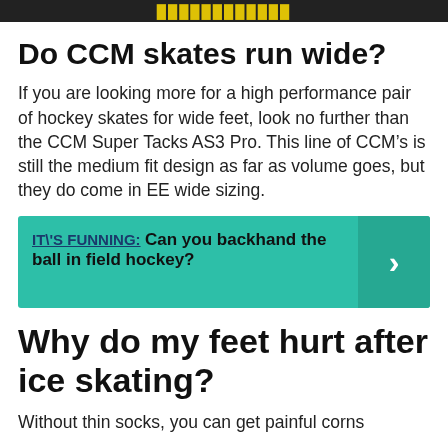[Figure (photo): Dark banner image at top of page with yellow text, partially cropped]
Do CCM skates run wide?
If you are looking more for a high performance pair of hockey skates for wide feet, look no further than the CCM Super Tacks AS3 Pro. This line of CCM’s is still the medium fit design as far as volume goes, but they do come in EE wide sizing.
IT\'S FUNNING: Can you backhand the ball in field hockey?
Why do my feet hurt after ice skating?
Without thin socks, you can get painful corns